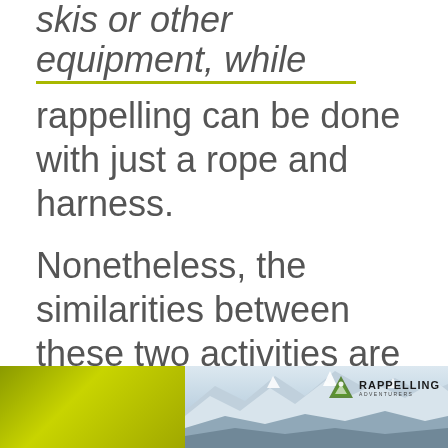skis or other equipment, while rappelling can be done with just a rope and harness.
Nonetheless, the similarities between these two activities are undeniable. So next time you hit the slopes or scale a rock wall, remember that you're part of a long tradition of people who have enjoyed the thrill of descending a steep slope.
[Figure (photo): Bottom strip showing two images side by side: left side is a solid olive/yellow-green color block, right side shows a snowy mountain landscape with a Rappelling logo/brand overlay in the top right corner.]